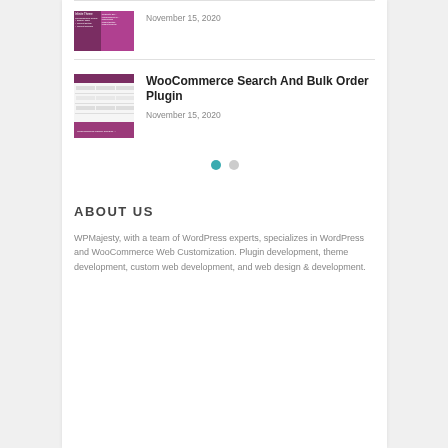[Figure (screenshot): Thumbnail image of a WordPress/WooCommerce plugin page with purple/magenta color scheme, showing column-based layout with text]
November 15, 2020
WooCommerce Search And Bulk Order Plugin
[Figure (screenshot): Thumbnail of WooCommerce Search and Bulk Order plugin page with purple header, table rows, and footer label]
November 15, 2020
[Figure (infographic): Pagination dots: one filled teal dot and one grey dot]
ABOUT US
WPMajesty, with a team of WordPress experts, specializes in WordPress and WooCommerce Web Customization. Plugin development, theme development, custom web development, and web design & development.